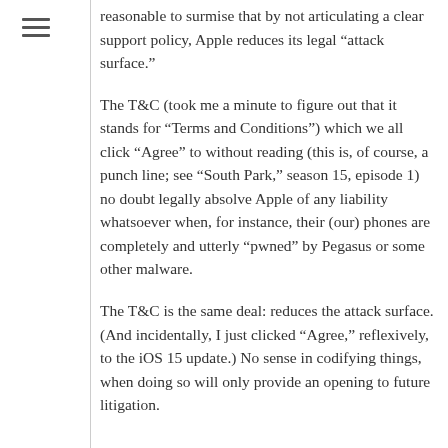reasonable to surmise that by not articulating a clear support policy, Apple reduces its legal “attack surface.”
The T&C (took me a minute to figure out that it stands for “Terms and Conditions”) which we all click “Agree” to without reading (this is, of course, a punch line; see “South Park,” season 15, episode 1) no doubt legally absolve Apple of any liability whatsoever when, for instance, their (our) phones are completely and utterly “pwned” by Pegasus or some other malware.
The T&C is the same deal: reduces the attack surface. (And incidentally, I just clicked “Agree,” reflexively, to the iOS 15 update.) No sense in codifying things, when doing so will only provide an opening to future litigation.